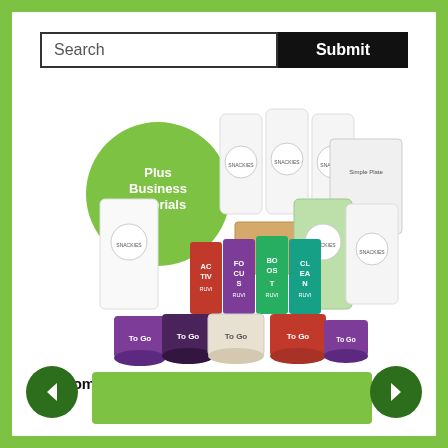[Figure (screenshot): Search bar with text input field labeled 'Search' and a black 'Submit' button]
[Figure (photo): Thrive Life product lineup including smoothie pouches, RUVI powder packets (ACTIV, FOCUS, BOOST, CLEAN), To Go cups, snack bags, Simple Plate package, and a green bubble saying 'Plus Business Materials']
Become A Thrive Life Consultant! We Have Several Kits To Choose From.